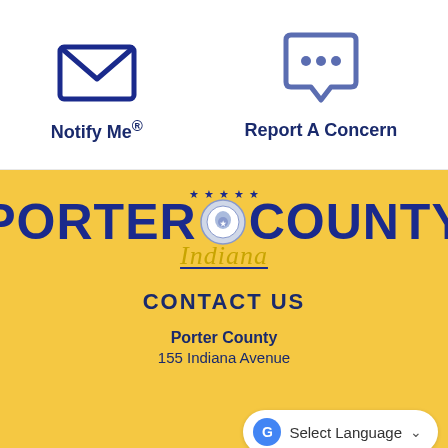[Figure (illustration): Envelope icon representing NotifyMe notification service]
Notify Me®
[Figure (illustration): Speech bubble chat icon representing Report A Concern feature]
Report A Concern
[Figure (logo): Porter County Indiana official logo with stars and county seal emblem, bold blue text PORTER COUNTY with Indiana in italic script below]
CONTACT US
Porter County
155 Indiana Avenue